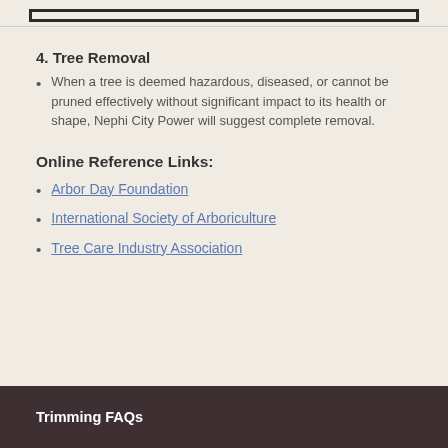[Figure (other): Top decorative image bar with a bordered box element]
4. Tree Removal
When a tree is deemed hazardous, diseased, or cannot be pruned effectively without significant impact to its health or shape, Nephi City Power will suggest complete removal.
Online Reference Links:
Arbor Day Foundation
International Society of Arboriculture
Tree Care Industry Association
Trimming FAQs